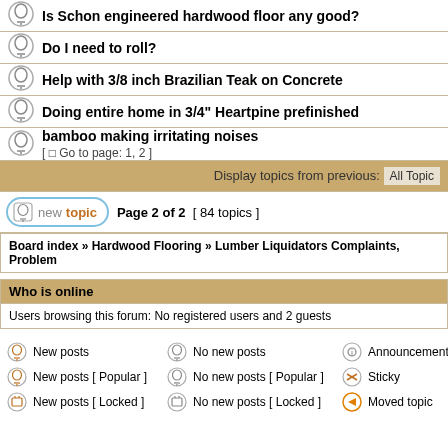Is Schon engineered hardwood floor any good?
Do I need to roll?
Help with 3/8 inch Brazilian Teak on Concrete
Doing entire home in 3/4" Heartpine prefinished
bamboo making irritating noises [ Go to page: 1, 2 ]
Display topics from previous: All Topic
Page 2 of 2  [ 84 topics ]
Board index » Hardwood Flooring » Lumber Liquidators Complaints, Problem
Who is online
Users browsing this forum: No registered users and 2 guests
New posts   No new posts   Announcements
New posts [ Popular ]   No new posts [ Popular ]   Sticky
New posts [ Locked ]   No new posts [ Locked ]   Moved topic